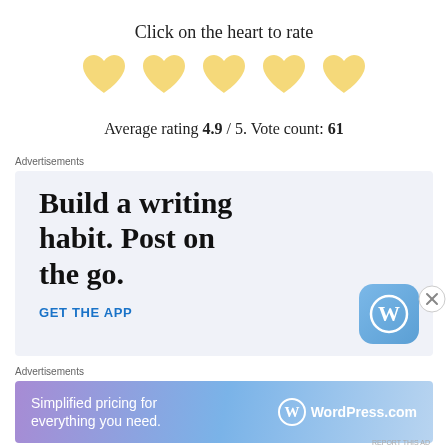Click on the heart to rate
[Figure (illustration): Five yellow heart icons in a row for rating]
Average rating 4.9 / 5. Vote count: 61
Advertisements
[Figure (screenshot): Advertisement: 'Build a writing habit. Post on the go.' with GET THE APP link and WordPress logo]
Advertisements
[Figure (screenshot): WordPress.com banner ad: 'Simplified pricing for everything you need.']